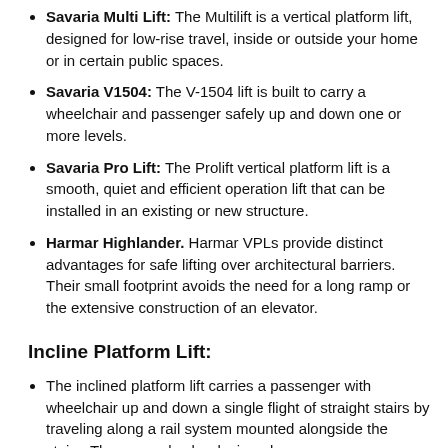Savaria Multi Lift: The Multilift is a vertical platform lift, designed for low-rise travel, inside or outside your home or in certain public spaces.
Savaria V1504: The V-1504 lift is built to carry a wheelchair and passenger safely up and down one or more levels.
Savaria Pro Lift: The Prolift vertical platform lift is a smooth, quiet and efficient operation lift that can be installed in an existing or new structure.
Harmar Highlander. Harmar VPLs provide distinct advantages for safe lifting over architectural barriers. Their small footprint avoids the need for a long ramp or the extensive construction of an elevator.
Incline Platform Lift:
The inclined platform lift carries a passenger with wheelchair up and down a single flight of straight stairs by traveling along a rail system mounted alongside the stairs. They may also be designed